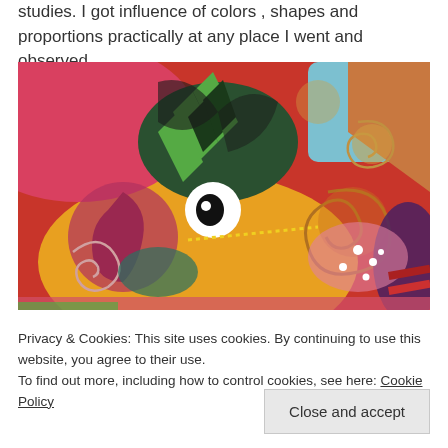studies. I got influence of colors , shapes and proportions practically at any place I went and observed.
[Figure (illustration): Abstract colorful painting with swirling shapes, spirals, and bold colors including red, orange, yellow, green, blue, and purple. Features eye-like forms and organic abstract shapes.]
Privacy & Cookies: This site uses cookies. By continuing to use this website, you agree to their use.
To find out more, including how to control cookies, see here: Cookie Policy
Close and accept